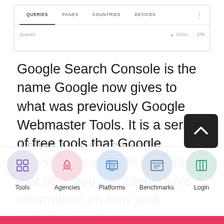[Figure (screenshot): Google Search Console UI screenshot showing tabs: QUERIES (active/underlined), PAGES, COUNTRIES, DEVICES, with a three-dot menu. Below is a row with 'Queries' label, an upward arrow 'Clicks' column header, and '270' value.]
Google Search Console is the name Google now gives to what was previously Google Webmaster Tools. It is a series of free tools that Google provides for website owners that offer you comprehensive information on how your website is performing.
Google Search Console helps you measure your site's Search traffic and performance, fix issues, and you can make your site shine in Google Search results. Optimize your content, and be notified of issues to some...
[Figure (screenshot): Bottom navigation bar with 5 items: Tools (purple circle with grid icon), Agencies (pink circle with rocket icon), Platforms (blue circle with browser icon), Benchmarks (steel blue circle with chart/newspaper icon), Login (green circle with door/panel icon).]